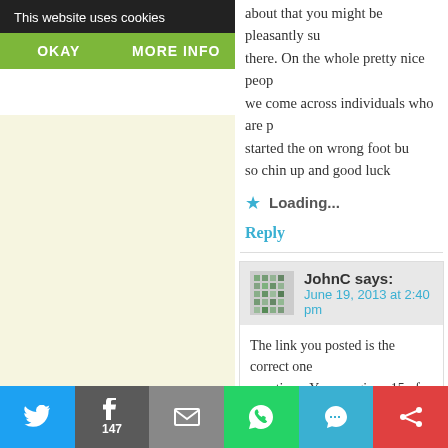This website uses cookies
OKAY   MORE INFO
about that you might be pleasantly surprised there. On the whole pretty nice people, we come across individuals who are started the on wrong foot but so chin up and good luck
Loading...
Reply
JohnC says: June 19, 2013 at 2:40 pm
The link you posted is the correct one questions. You are given 15 of them and correct. I took my test the same day t
I am only Croatian through two of my grandparents (my great-grandparents Croatian on both sides of my family. Y
147